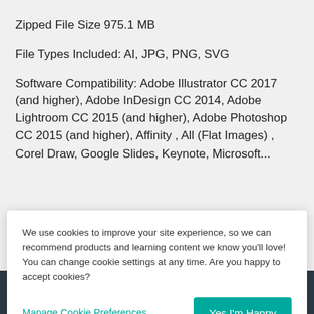Zipped File Size 975.1 MB
File Types Included: AI, JPG, PNG, SVG
Software Compatibility: Adobe Illustrator CC 2017 (and higher), Adobe InDesign CC 2014, Adobe Lightroom CC 2015 (and higher), Adobe Photoshop CC 2015 (and higher), Affinity , All (Flat Images) , Corel Draw, Google Slides, Keynote, Microsoft...
We use cookies to improve your site experience, so we can recommend products and learning content we know you'll love! You can change cookie settings at any time. Are you happy to accept cookies?
Manage Cookie Preferences
Yes I'm Happy
Add to Cart...
TOP